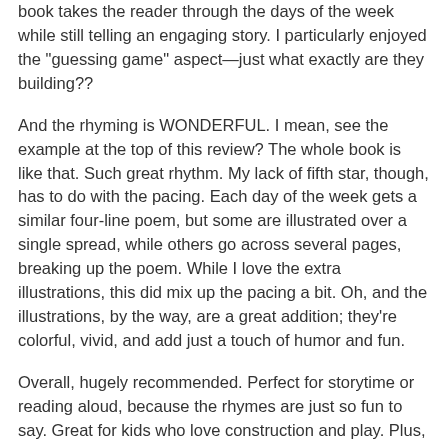book takes the reader through the days of the week while still telling an engaging story. I particularly enjoyed the "guessing game" aspect—just what exactly are they building??
And the rhyming is WONDERFUL. I mean, see the example at the top of this review? The whole book is like that. Such great rhythm. My lack of fifth star, though, has to do with the pacing. Each day of the week gets a similar four-line poem, but some are illustrated over a single spread, while others go across several pages, breaking up the poem. While I love the extra illustrations, this did mix up the pacing a bit. Oh, and the illustrations, by the way, are a great addition; they're colorful, vivid, and add just a touch of humor and fun.
Overall, hugely recommended. Perfect for storytime or reading aloud, because the rhymes are just so fun to say. Great for kids who love construction and play. Plus, there's the whole subtle learning aspect! See? It's just so great. Give it a try.
Want to use it in the library or classroom? Click here for a